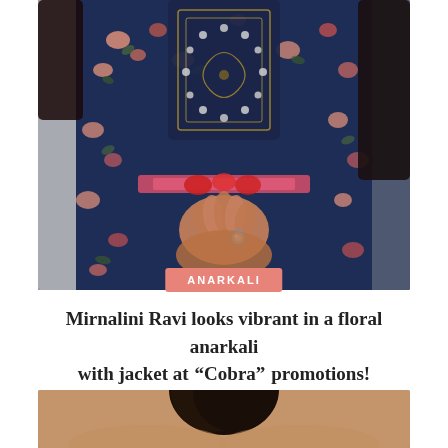[Figure (photo): Close-up photo of Mirnalini Ravi wearing a dark navy blue floral anarkali suit with embroidered yoke and mirror work, pink floral print, long sleeves, and a decorative ring on her finger. She is seated with hands clasped.]
ANARKALI
Mirnalini Ravi looks vibrant in a floral anarkali with jacket at “Cobra” promotions!
[Figure (photo): Partial photo showing the top of a person's head with long dark hair, warm skin tone background suggesting an outdoor or warm-lit setting.]